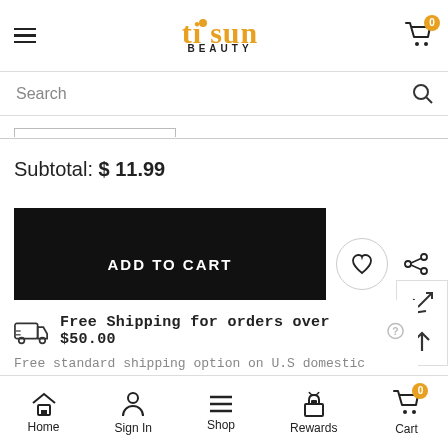tisun BEAUTY
Search
Subtotal: $ 11.99
ADD TO CART
Free Shipping for orders over $50.00
Free standard shipping option on U.S domestic orde over $50.00.
The cookie settings on this website are set to 'allow all cookies' to give you the very best experience. Please click
Home  Sign In  Shop  Rewards  Cart